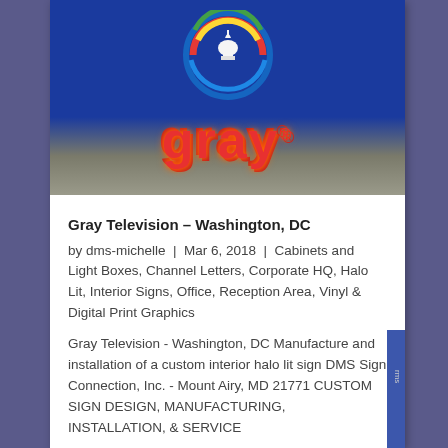[Figure (photo): Photo of a Gray Television illuminated sign on a blue wall background with colorful circular logo above the 'gray' channel letters in red with halo lighting effect]
Gray Television – Washington, DC
by dms-michelle | Mar 6, 2018 | Cabinets and Light Boxes, Channel Letters, Corporate HQ, Halo Lit, Interior Signs, Office, Reception Area, Vinyl & Digital Print Graphics
Gray Television - Washington, DC Manufacture and installation of a custom interior halo lit sign DMS Sign Connection, Inc. - Mount Airy, MD 21771 CUSTOM SIGN DESIGN, MANUFACTURING, INSTALLATION, & SERVICE